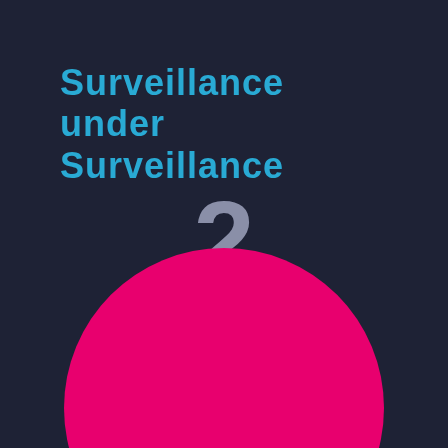Surveillance under Surveillance
2
surveillance nodes
country: IN • all areas • all types
year: 2021 • month: May
filter
[Figure (illustration): Large magenta/pink circle partially visible at the bottom of the page, cut off at the bottom edge]